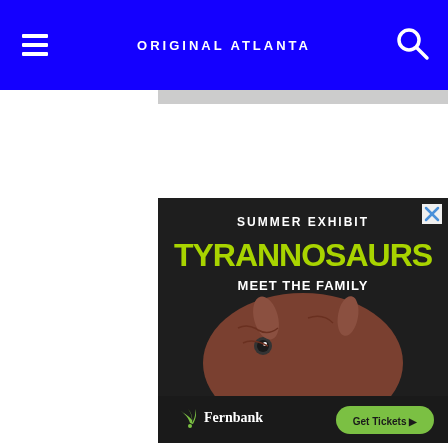ORIGINAL ATLANTA
[Figure (screenshot): Advertisement for Fernbank Museum Tyrannosaurs summer exhibit showing text 'SUMMER EXHIBIT TYRANNOSAURS MEET THE FAMILY' with a dinosaur face and Fernbank logo with 'Get Tickets' button]
[Figure (screenshot): Partial advertisement showing a yellow spherical logo on dark blue background]